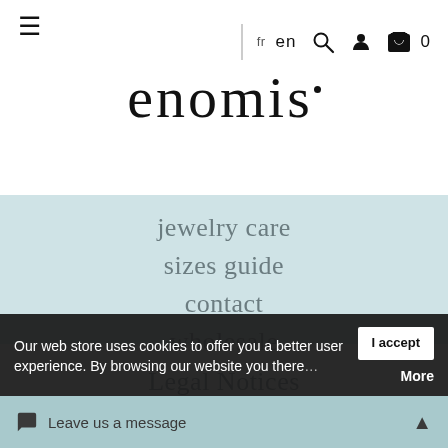enomis — navigation bar with hamburger menu, language switcher (fr / en), search, account, and cart icons
enomis
jewelry care
sizes guide
contact
wholesale
Legal Notices
T&Cs
shipment
Our web store uses cookies to offer you a better user experience. By browsing our website you there… I accept  More
Leave us a message